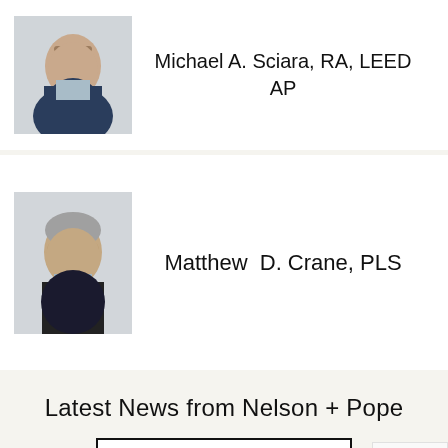[Figure (photo): Headshot photo of Michael A. Sciara, a man in a dark suit jacket and light blue shirt, smiling, against a neutral background]
Michael A. Sciara, RA, LEED AP
[Figure (photo): Headshot photo of Matthew D. Crane, a man with grey hair in a dark suit jacket and light blue shirt, smiling, against a neutral background]
Matthew  D. Crane, PLS
Latest News from Nelson + Pope
SEE ALL POSTS >